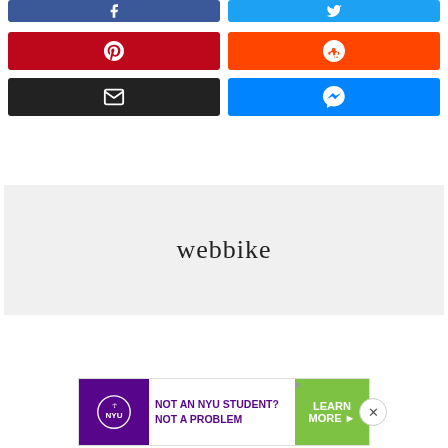[Figure (screenshot): Social media share buttons grid: Facebook (blue, top-left partial), Twitter (light blue, top-right partial), Pinterest (red), Reddit (orange-red), Email (black), Messenger (blue)]
[Figure (screenshot): Webbike advertisement placeholder box with text 'webbike' in serif font on light gray background]
[Figure (screenshot): NYU advertisement banner: purple NYU logo on left, 'NOT AN NYU STUDENT? NOT A PROBLEM' text in center, green 'LEARN MORE' button on right, with X close button]